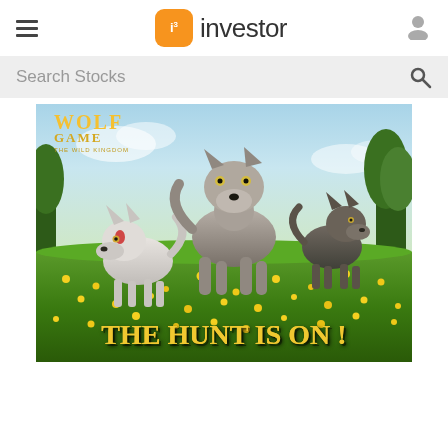i3 investor
Search Stocks
[Figure (photo): Wolf Game: The Wild Kingdom advertisement showing three animated wolves (one white, one grey large, one dark) running through a flower-filled meadow with text 'THE HUNT IS ON !' at the bottom]